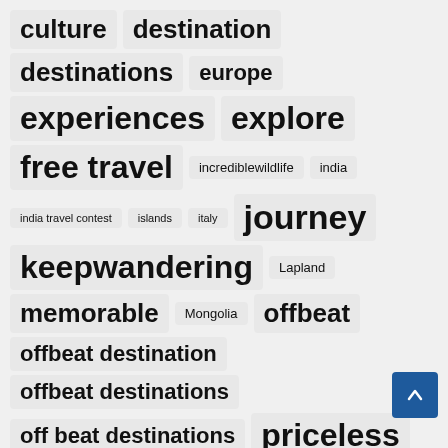culture
destination
destinations
europe
experiences
explore
free travel
incrediblewildlife
india
india travel contest
islands
italy
journey
keepwandering
Lapland
memorable
Mongolia
offbeat
offbeat destination
offbeat destinations
off beat destinations
priceless
romantic getaways
shopping